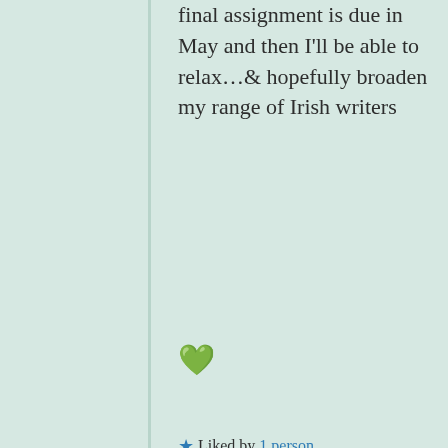final assignment is due in May and then I'll be able to relax…& hopefully broaden my range of Irish writers 💚
★ Liked by 1 person
Leave a Reply
Privacy & Cookies: This site uses cookies. By continuing to use this website, you agree to their use. To find out more, including how to control cookies, see here: Cookie Policy
Close and accept